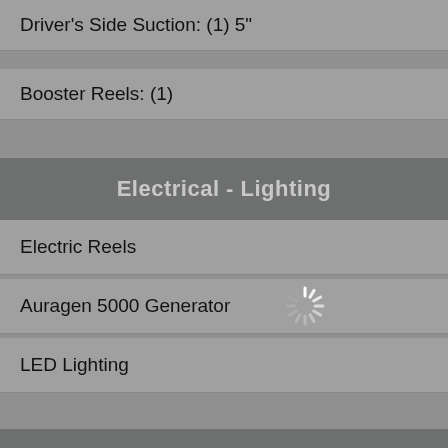Driver's Side Suction: (1) 5"
Booster Reels: (1)
Electrical - Lighting
Electric Reels
Auragen 5000 Generator
LED Lighting
Options
Air Conditioning